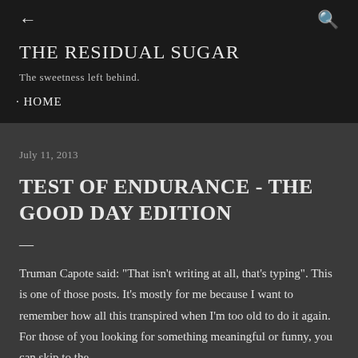← (back arrow) | Q (search icon)
THE RESIDUAL SUGAR
The sweetness left behind.
· HOME
July 11, 2013
TEST OF ENDURANCE - THE GOOD DAY EDITION
—
Truman Capote said: "That isn't writing at all, that's typing". This is one of those posts. It's mostly for me because I want to remember how all this transpired when I'm too old to do it again. For those of you looking for something meaningful or funny, you can skip to the